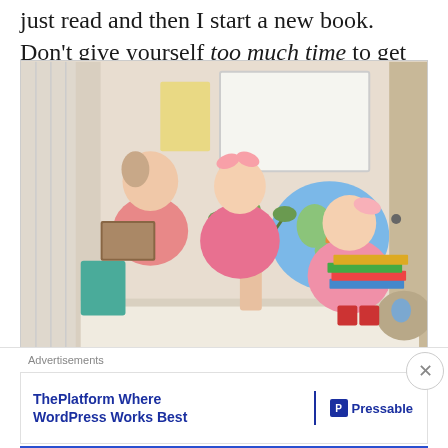just read and then I start a new book. Don't give yourself too much time to get out of the routine.
[Figure (photo): Three young girls in pink sweatshirts sitting at a table with books, a globe, a world map poster, and a plant. They are smiling and excited, appearing to be in a home school or study room setting.]
Advertisements
ThePlatform Where WordPress Works Best — Pressable